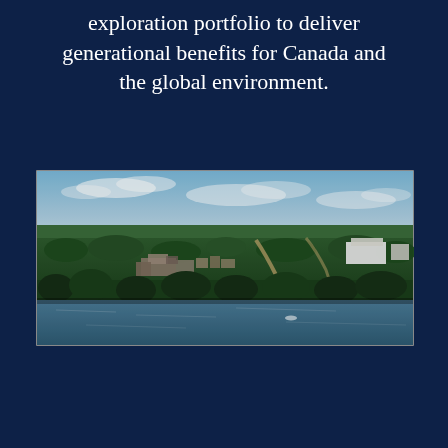exploration portfolio to deliver generational benefits for Canada and the global environment.
[Figure (photo): Aerial photograph of a remote Canadian mining or industrial facility nestled among boreal forest, with a lake in the foreground reflecting the sky, buildings and roads visible within the dense tree cover, and a large white structure visible in the upper right portion of the image.]